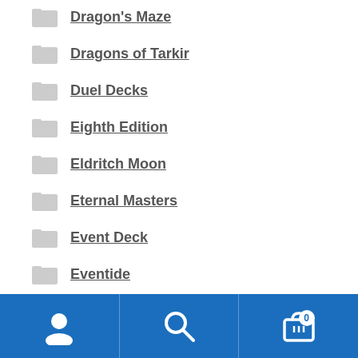Dragon's Maze
Dragons of Tarkir
Duel Decks
Eighth Edition
Eldritch Moon
Eternal Masters
Event Deck
Eventide
Fate Reforged
Fifth Dawn
Foreign Language